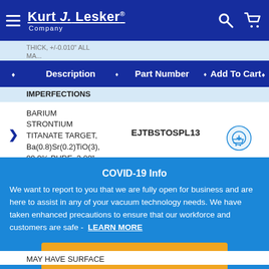Kurt J. Lesker Company
|  | Description | Part Number | Add To Cart |
| --- | --- | --- | --- |
|  | THICK, +/-0.010" ALL MA... IMPERFECTIONS |  |  |
| › | BARIUM STRONTIUM TITANATE TARGET, Ba(0.8)Sr(0.2)TiO(3), 99.9% PURE, 3.00" DIAMETER X 0.125" THICK, +/-0.010" ALL | EJTBSTOSPL13 |  |
|  | MAY HAVE SURFACE |  |  |
COVID-19 Info
We want to report to you that we are fully open for business and are here to assist in any of your vacuum technology needs. We have taken enhanced precautions to ensure that our workforce and customers are safe -  LEARN MORE
Dismiss